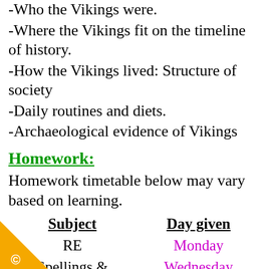-Who the Vikings were.
-Where the Vikings fit on the timeline of history.
-How the Vikings lived: Structure of society
-Daily routines and diets.
-Archaeological evidence of Vikings
Homework:
Homework timetable below may vary based on learning.
| Subject | Day given |
| --- | --- |
| RE | Monday |
| Spellings & | Wednesday |